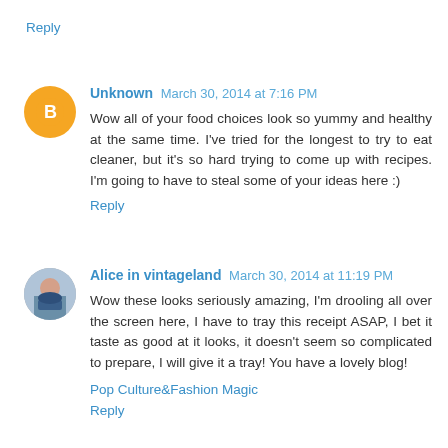http://www.marciyo westblog.com/
Reply
Unknown   March 30, 2014 at 7:16 PM
Wow all of your food choices look so yummy and healthy at the same time. I've tried for the longest to try to eat cleaner, but it's so hard trying to come up with recipes. I'm going to have to steal some of your ideas here :)
Reply
Alice in vintageland   March 30, 2014 at 11:19 PM
Wow these looks seriously amazing, I'm drooling all over the screen here, I have to tray this receipt ASAP, I bet it taste as good at it looks, it doesn't seem so complicated to prepare, I will give it a tray! You have a lovely blog!
Pop Culture&Fashion Magic
Reply